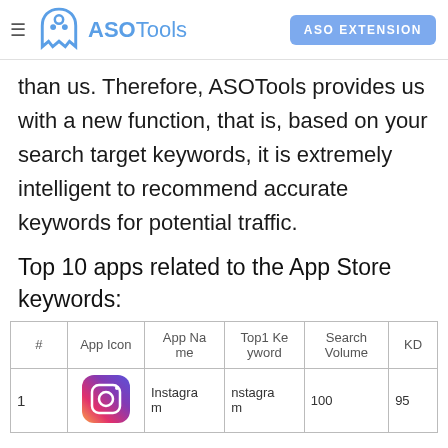ASOTools — ASO EXTENSION
than us. Therefore, ASOTools provides us with a new function, that is, based on your search target keywords, it is extremely intelligent to recommend accurate keywords for potential traffic.
Top 10 apps related to the App Store keywords:
| # | App Icon | App Na me | Top1 Ke yword | Search Volume | KD |
| --- | --- | --- | --- | --- | --- |
| 1 | [Instagram icon] | Instagra m | nstagra m | 100 | 95 |